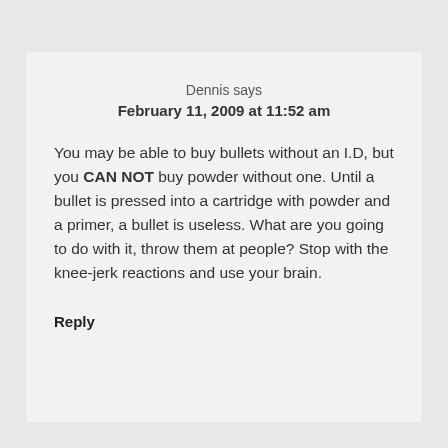Dennis says
February 11, 2009 at 11:52 am
You may be able to buy bullets without an I.D, but you CAN NOT buy powder without one. Until a bullet is pressed into a cartridge with powder and a primer, a bullet is useless. What are you going to do with it, throw them at people? Stop with the knee-jerk reactions and use your brain.
Reply